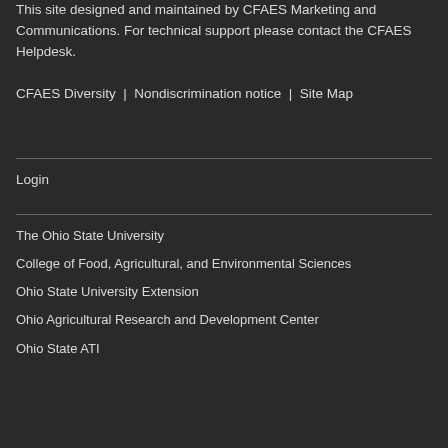This site designed and maintained by CFAES Marketing and Communications. For technical support please contact the CFAES Helpdesk.
CFAES Diversity | Nondiscrimination notice | Site Map
Login
The Ohio State University
College of Food, Agricultural, and Environmental Sciences
Ohio State University Extension
Ohio Agricultural Research and Development Center
Ohio State ATI